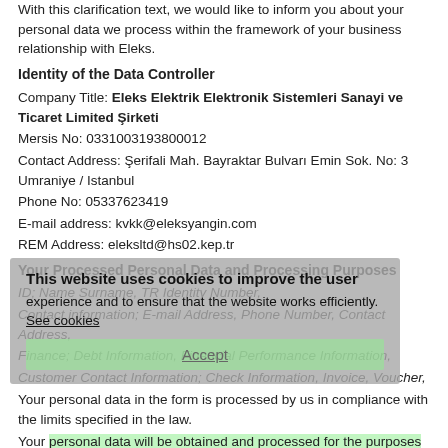With this clarification text, we would like to inform you about your personal data we process within the framework of your business relationship with Eleks.
Identity of the Data Controller
Company Title: Eleks Elektrik Elektronik Sistemleri Sanayi ve Ticaret Limited Şirketi
Mersis No: 0331003193800012
Contact Address: Şerifali Mah. Bayraktar Bulvarı Emin Sok. No: 3 Umraniye / Istanbul
Phone No: 05337623419
E-mail address: kvkk@eleksyangin.com
REM Address: eleksltd@hs02.kep.tr
Your Processed Personal Data and Processing Purposes
ID;  Name Surname, TR Identity Number,
Contact information; E-mail Address, Phone Number, Contact Address,
Finance; Debt Information, Financial Performance Information,
Customer Contact Information; Check Information, Invoice, Voucher,
Your personal data in the form is processed by us in compliance with the limits specified in the law.
Your personal data will be obtained and processed for the purposes stated below.
Execution of Finance and Accounting Affairs,
Conducting Activities in Compliance with Legislation